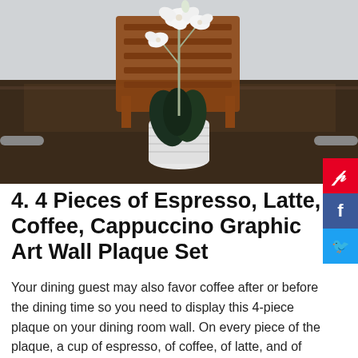[Figure (photo): A dining table with wooden chairs in the background, and a white pot containing a white orchid flower and dark green leaves in the foreground, set against a light gray wall.]
4. 4 Pieces of Espresso, Latte, Coffee, Cappuccino Graphic Art Wall Plaque Set
Your dining guest may also favor coffee after or before the dining time so you need to display this 4-piece plaque on your dining room wall. On every piece of the plaque, a cup of espresso, of coffee, of latte, and of cappuccino are displayed.